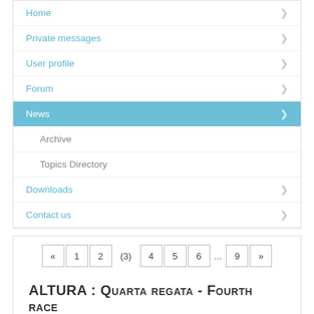Home
Private messages
User profile
Forum
News
Archive
Topics Directory
Downloads
Contact us
« 1 2 (3) 4 5 6 ... 9 »
ALTURA : Quarta regata - Fourth race
Posted by Lupin on 2017/10/11 15:16:12 (1071 reads)